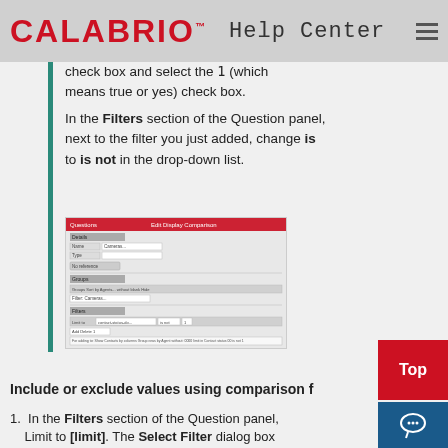CALABRIO™ Help Center
check box and select the 1 (which means true or yes) check box.
In the Filters section of the Question panel, next to the filter you just added, change is to is not in the drop-down list.
[Figure (screenshot): Screenshot of a software dialog panel showing Filters section with filter rows including 'is not' dropdown and contact-related filter options.]
Include or exclude values using comparison f
1. In the Filters section of the Question panel, Limit to [limit]. The Select Filter dialog box